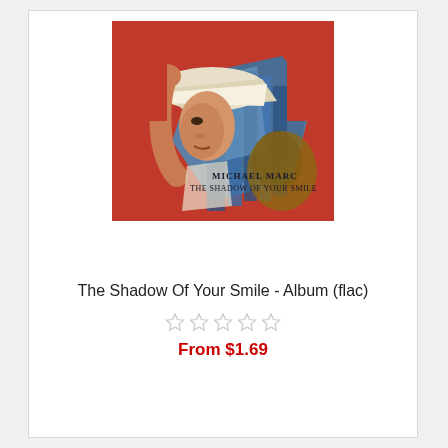[Figure (illustration): Album cover art for 'The Shadow Of Your Smile' by Michael Marc. A cubist-style painting of a figure in a white hat, face tilted down, with blue and red tones. Text on the cover reads 'Michael Marc' and 'The Shadow Of Your Smile'.]
The Shadow Of Your Smile - Album (flac)
☆ ☆ ☆ ☆ ☆
From $1.69